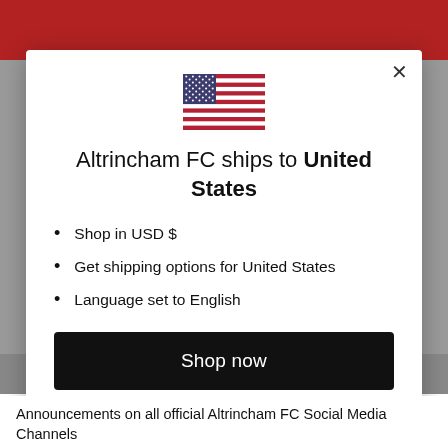[Figure (screenshot): Website background showing red header bar and grey content area]
[Figure (illustration): US flag inline SVG inside modal dialog]
Altrincham FC ships to United States
Shop in USD $
Get shipping options for United States
Language set to English
Shop now
Change shipping country and language
Announcements on all official Altrincham FC Social Media Channels